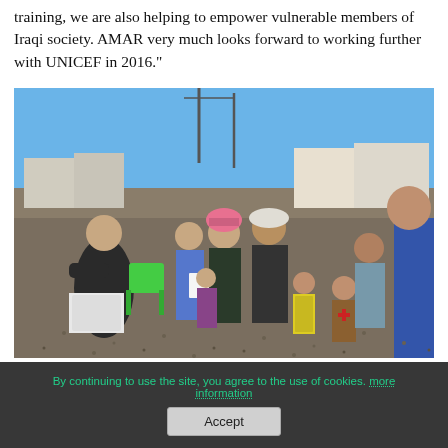training, we are also helping to empower vulnerable members of Iraqi society. AMAR very much looks forward to working further with UNICEF in 2016."
[Figure (photo): Outdoor scene at a refugee or displaced persons camp. A healthcare or aid worker sits on the left writing or processing paperwork on a medical cooler box, next to green plastic chairs. A group of adults and children stand in front of him — including a man in traditional dress with a pink head covering, a woman in jeans, and several children. White tents and utility poles are visible in the background.]
By continuing to use the site, you agree to the use of cookies. more information
Accept